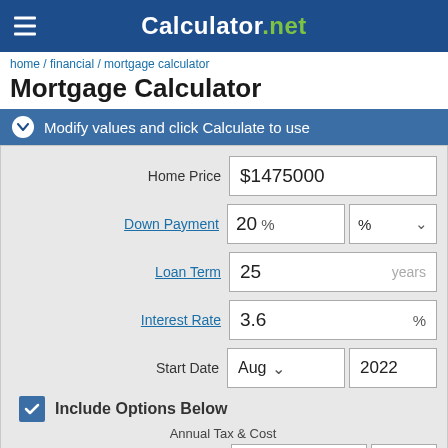Calculator.net
home / financial / mortgage calculator
Mortgage Calculator
Modify values and click Calculate to use
| Field | Value |
| --- | --- |
| Home Price | $1475000 |
| Down Payment | 20 %  % |
| Loan Term | 25  years |
| Interest Rate | 3.6  % |
| Start Date | Aug  2022 |
Include Options Below
Annual Tax & Cost